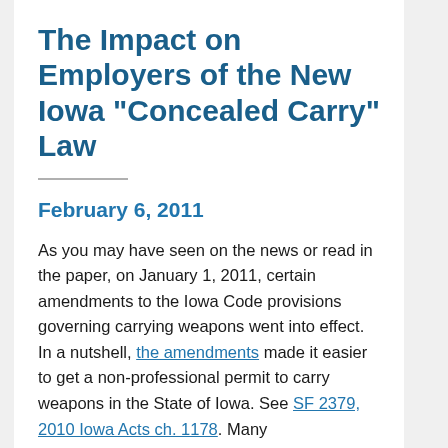The Impact on Employers of the New Iowa "Concealed Carry" Law
February 6, 2011
As you may have seen on the news or read in the paper, on January 1, 2011, certain amendments to the Iowa Code provisions governing carrying weapons went into effect. In a nutshell, the amendments made it easier to get a non-professional permit to carry weapons in the State of Iowa. See SF 2379, 2010 Iowa Acts ch. 1178. Many